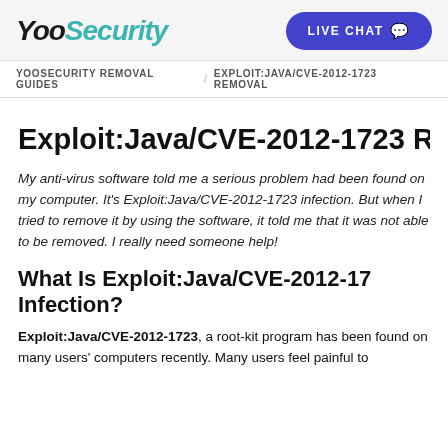YooSecurity | LIVE CHAT
YOOSECURITY REMOVAL GUIDES / EXPLOIT:JAVA/CVE-2012-1723 REMOVAL
Exploit:Java/CVE-2012-1723 R…
My anti-virus software told me a serious problem had been found on my computer. It's Exploit:Java/CVE-2012-1723 infection. But when I tried to remove it by using the software, it told me that it was not able to be removed. I really need someone help!
What Is Exploit:Java/CVE-2012-1723 Infection?
Exploit:Java/CVE-2012-1723, a root-kit program has been found on many users' computers recently. Many users feel painful to…